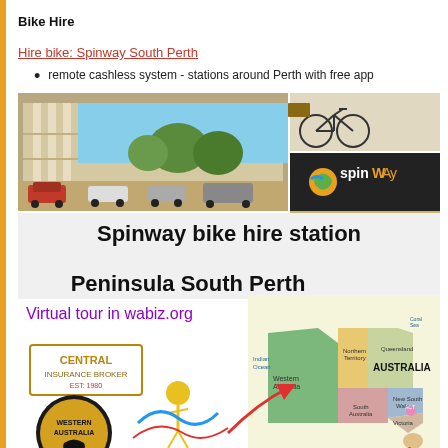Bike Hire
Hire bike: Spinway South Perth
remote cashless system - stations around Perth with free app
[Figure (photo): Composite image showing Spinway bike hire station at The Peninsula South Perth. Top portion shows a building exterior (The Peninsula Serviced Suites) with cars parked outside and trees, plus a bicycle photo and SpinWAy logo. Bottom portion shows text 'Spinway bike hire station Peninsula South Perth', purple text 'Virtual tour in wabiz.org', and a map of Australia with state regions colored, plus Central Insurance Broker logo and Western Australia logo.]